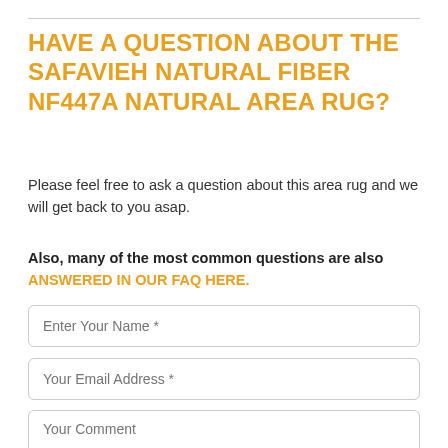HAVE A QUESTION ABOUT THE SAFAVIEH NATURAL FIBER NF447A NATURAL AREA RUG?
Please feel free to ask a question about this area rug and we will get back to you asap.
Also, many of the most common questions are also ANSWERED IN OUR FAQ HERE.
Enter Your Name *
Your Email Address *
Your Comment